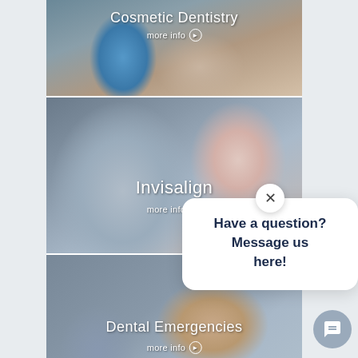[Figure (photo): Dental professional with blue gloves examining a patient's teeth - Cosmetic Dentistry card with 'more info' link]
[Figure (photo): Person holding an Invisalign dental aligner, with close-up of smiling teeth in background - Invisalign card with 'more info' link]
[Figure (screenshot): Chat popup overlay with close X button showing text: Have a question? Message us here!]
[Figure (photo): Person in pain holding jaw - Dental Emergencies card with 'more info' link]